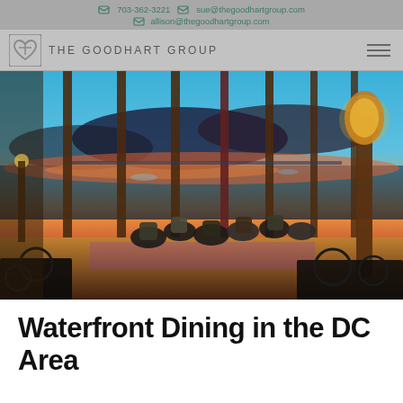703-362-3221  sue@thegoodhartgroup.com  allison@thegoodhartgroup.com
THE GOODHART GROUP
[Figure (photo): Outdoor waterfront restaurant patio at sunset/dusk with people dining, ornate lamp posts, and a waterway view in the background.]
Waterfront Dining in the DC Area